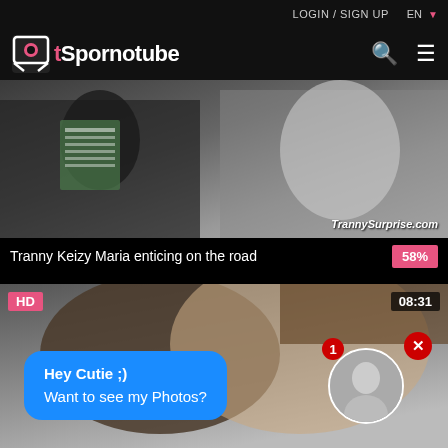LOGIN / SIGN UP  EN
[Figure (logo): tSpornotube logo with pink icon and white text on black nav bar]
[Figure (photo): Video thumbnail showing figures, watermark TrannySurprise.com]
Tranny Keizy Maria enticing on the road  58%
[Figure (photo): Second video thumbnail with HD badge and 08:31 duration, overlaid chat bubble saying Hey Cutie ;) Want to see my Photos?]